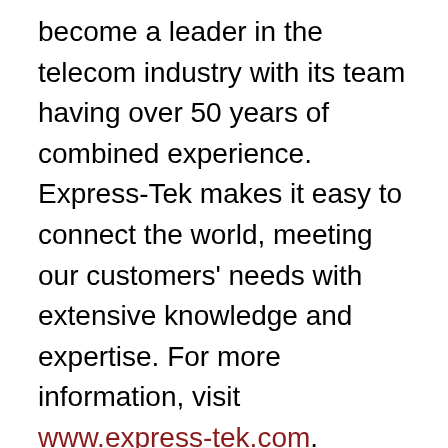become a leader in the telecom industry with its team having over 50 years of combined experience. Express-Tek makes it easy to connect the world, meeting our customers' needs with extensive knowledge and expertise. For more information, visit www.express-tek.com.
About Helicore LLC: In a rapidly changing industry, Helicore is helping wireless network owners create small cell 4G/5G networks